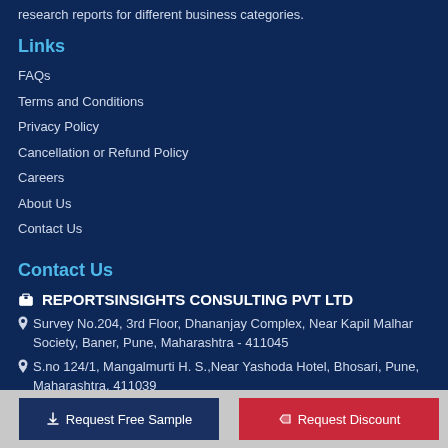research reports for different business categories.
Links
FAQs
Terms and Conditions
Privacy Policy
Cancellation or Refund Policy
Careers
About Us
Contact Us
Contact Us
REPORTSINSIGHTS CONSULTING PVT LTD
Survey No.204, 3rd Floor, Dhananjay Complex, Near Kapil Malhar Society, Baner, Pune, Maharashtra - 411045
S.no 124/1, Mangalmurti H. S.,Near Yashoda Hotel, Bhosari, Pune, Maharashtra, 411039